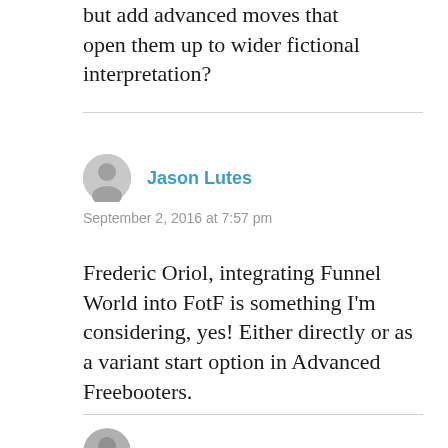but add advanced moves that open them up to wider fictional interpretation?
Jason Lutes
September 2, 2016 at 7:57 pm
Frederic Oriol, integrating Funnel World into FotF is something I'm considering, yes! Either directly or as a variant start option in Advanced Freebooters.